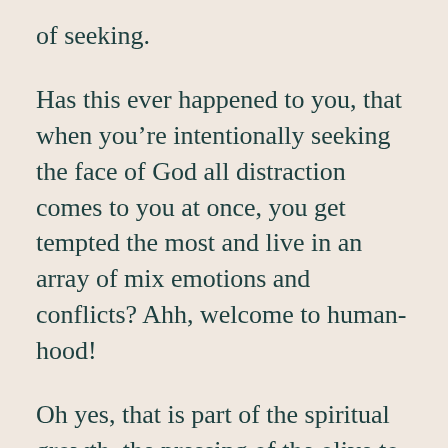of seeking.
Has this ever happened to you, that when you're intentionally seeking the face of God all distraction comes to you at once, you get tempted the most and live in an array of mix emotions and conflicts? Ahh, welcome to human-hood!
Oh yes, that is part of the spiritual growth, the pressing of the olive to produce the best oil. That is the anointing in the making! I take it!
I always say that I rather live in the pressing than them wondering or not know what